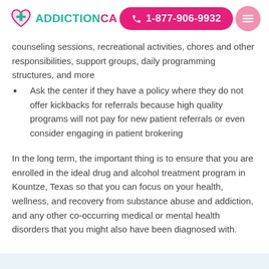ADDICTIONCA | 1-877-906-9932
counseling sessions, recreational activities, chores and other responsibilities, support groups, daily programming structures, and more
Ask the center if they have a policy where they do not offer kickbacks for referrals because high quality programs will not pay for new patient referrals or even consider engaging in patient brokering
In the long term, the important thing is to ensure that you are enrolled in the ideal drug and alcohol treatment program in Kountze, Texas so that you can focus on your health, wellness, and recovery from substance abuse and addiction, and any other co-occurring medical or mental health disorders that you might also have been diagnosed with.